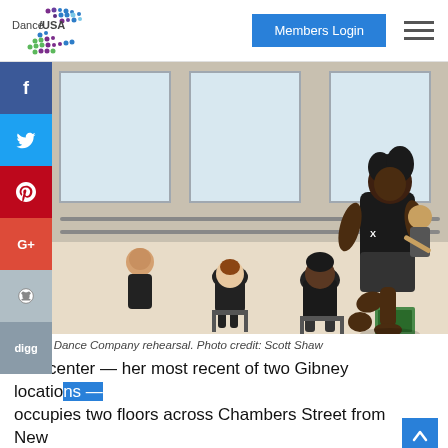[Figure (logo): Dance/USA logo with colorful dots pattern]
Members Login
[Figure (photo): Gibney Dance Company rehearsal. A dancer in black performs while others watch seated in a bright studio with ballet barres.]
Gibney Dance Company rehearsal. Photo credit: Scott Shaw
The center — her most recent of two Gibney locations — occupies two floors across Chambers Street from New